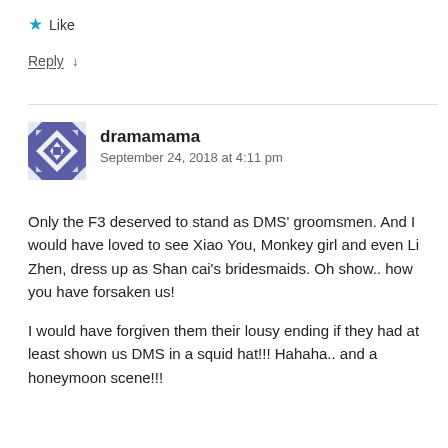★ Like
Reply ↓
[Figure (illustration): Geometric avatar icon with blue and white diamond/square pattern for user dramamama]
dramamama
September 24, 2018 at 4:11 pm
Only the F3 deserved to stand as DMS' groomsmen. And I would have loved to see Xiao You, Monkey girl and even Li Zhen, dress up as Shan cai's bridesmaids. Oh show.. how you have forsaken us!

I would have forgiven them their lousy ending if they had at least shown us DMS in a squid hat!!! Hahaha.. and a honeymoon scene!!!